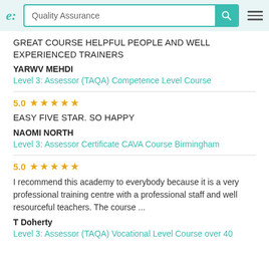Quality Assurance
GREAT COURSE HELPFUL PEOPLE AND WELL EXPERIENCED TRAINERS
YARWV MEHDI
Level 3: Assessor (TAQA) Competence Level Course
5.0 ★★★★★
EASY FIVE STAR. SO HAPPY
NAOMI NORTH
Level 3: Assessor Certificate CAVA Course Birmingham
5.0 ★★★★★
I recommend this academy to everybody because it is a very professional training centre with a professional staff and well resourceful teachers. The course ...
T Doherty
Level 3: Assessor (TAQA) Vocational Level Course over 40